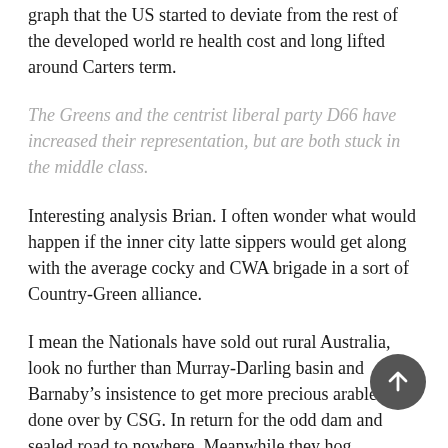graph that the US started to deviate from the rest of the developed world re health cost and long lifted around Carters term.
The Greens and the centrist liberal party D66 have increased their representation, but are both stuck in the middle class.
Interesting analysis Brian. I often wonder what would happen if the inner city latte sippers would get along with the average cocky and CWA brigade in a sort of Country-Green alliance.
I mean the Nationals have sold out rural Australia, look no further than Murray-Darling basin and Barnaby’s insistence to get more precious arable land done over by CSG. In return for the odd dam and sealed road to nowhere. Meanwhile they hog government with b... 5% of the vote, yet The Greens on more than 10%, get